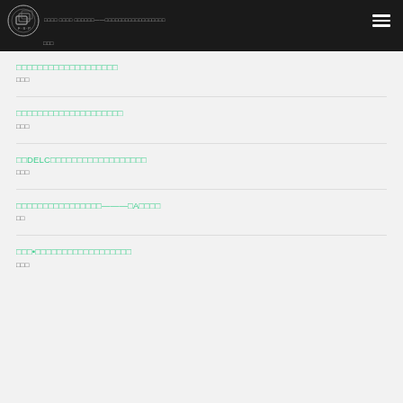FSP logo and navigation header with hamburger menu
□□□
□□□□□□□□□□□□□□□□□□□
□□□
□□□□□□□□□□□□□□□□□□□□
□□□
□□DELC□□□□□□□□□□□□□□□□□□
□□□
□□□□□□□□□□□□□□□□———□A□□□□
□□
□□□•□□□□□□□□□□□□□□□□□□
□□□